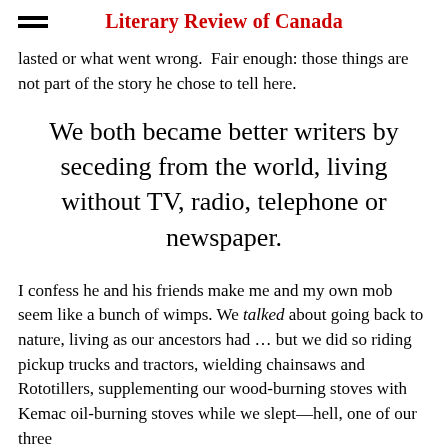Literary Review of Canada
lasted or what went wrong. Fair enough: those things are not part of the story he chose to tell here.
We both became better writers by seceding from the world, living without TV, radio, telephone or newspaper.
I confess he and his friends make me and my own mob seem like a bunch of wimps. We talked about going back to nature, living as our ancestors had … but we did so riding pickup trucks and tractors, wielding chainsaws and Rototillers, supplementing our wood-burning stoves with Kemac oil-burning stoves while we slept—hell, one of our three